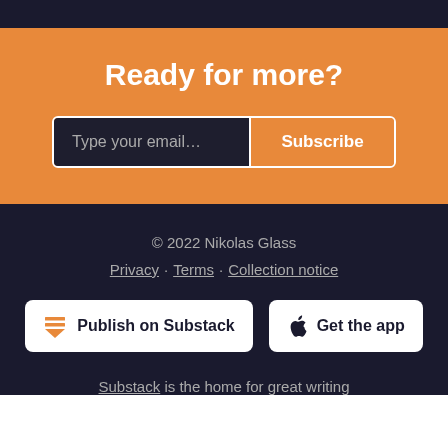Ready for more?
Type your email...  Subscribe
© 2022 Nikolas Glass
Privacy · Terms · Collection notice
Publish on Substack
Get the app
Substack is the home for great writing